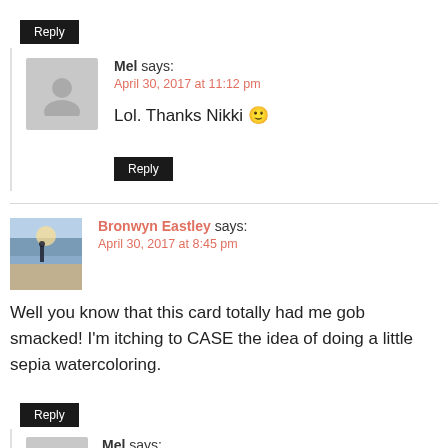Reply
Mel says:
April 30, 2017 at 11:12 pm
Lol. Thanks Nikki 🙂
Reply
Bronwyn Eastley says:
April 30, 2017 at 8:45 pm
Well you know that this card totally had me gob smacked! I'm itching to CASE the idea of doing a little sepia watercoloring.
Reply
Mel says:
April 30, 2017 at 11:10 pm